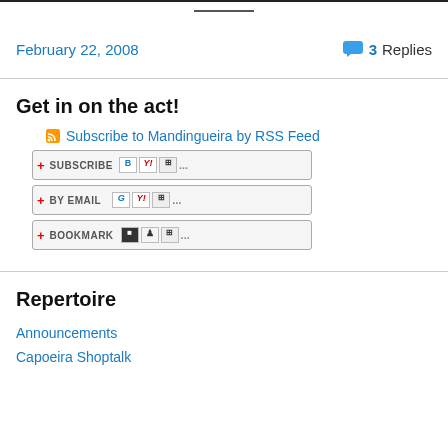February 22, 2008
3 Replies
Get in on the act!
Subscribe to Mandingueira by RSS Feed
SUBSCRIBE B Y! ... 
BY EMAIL G Y! ...
BOOKMARK ...
Repertoire
Announcements
Capoeira Shoptalk